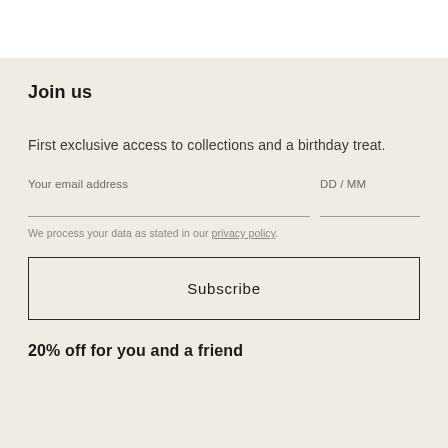Join us
First exclusive access to collections and a birthday treat.
Your email address
DD / MM
We process your data as stated in our privacy policy.
Subscribe
20% off for you and a friend